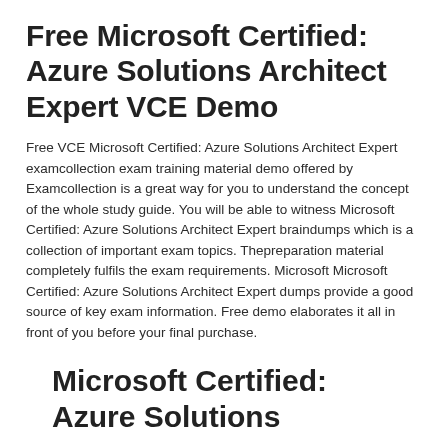Free Microsoft Certified: Azure Solutions Architect Expert VCE Demo
Free VCE Microsoft Certified: Azure Solutions Architect Expert examcollection exam training material demo offered by Examcollection is a great way for you to understand the concept of the whole study guide. You will be able to witness Microsoft Certified: Azure Solutions Architect Expert braindumps which is a collection of important exam topics. Thepreparation material completely fulfils the exam requirements. Microsoft Microsoft Certified: Azure Solutions Architect Expert dumps provide a good source of key exam information. Free demo elaborates it all in front of you before your final purchase.
Microsoft Certified: Azure Solutions